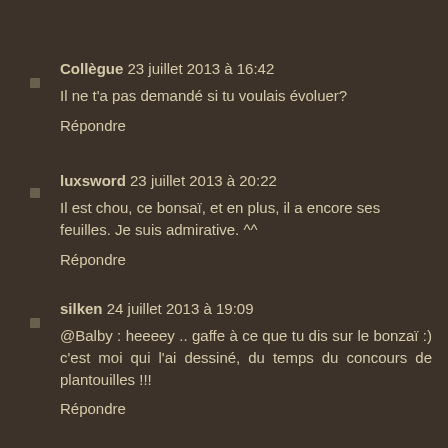Collègue 23 juillet 2013 à 16:42
Il ne t'a pas demandé si tu voulais évoluer?
Répondre
luxsword 23 juillet 2013 à 20:22
Il est chou, ce bonsaï, et en plus, il a encore ses feuilles. Je suis admirative. ^^
Répondre
silken 24 juillet 2013 à 19:09
@Balby : heeeey .. gaffe à ce que tu dis sur le bonzaï :) c'est moi qui l'ai dessiné, du temps du concours de plantouilles !!!
Répondre